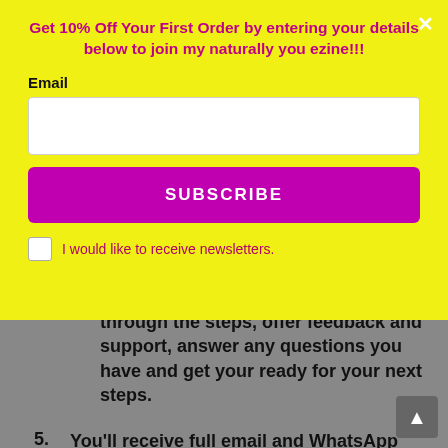Get 10% Off Your First Order by entering your details below to join my naturally you ezine!!!
Email
SUBSCRIBE
I would like to receive newsletters.
through the steps, offer feedback and support, answer any questions you have and get your ready for your next steps.
5. You'll receive full email and WhatsApp support throughout the program and additional calls can be arranged if extra support is required between calls.